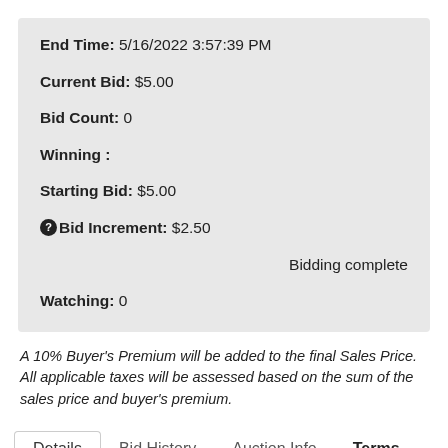End Time: 5/16/2022 3:57:39 PM
Current Bid: $5.00
Bid Count: 0
Winning :
Starting Bid: $5.00
Bid Increment: $2.50
Bidding complete
Watching: 0
A 10% Buyer's Premium will be added to the final Sales Price. All applicable taxes will be assessed based on the sum of the sales price and buyer's premium.
Details | Bid History | Auction Info | Terms
Item Location | Contacts | Page